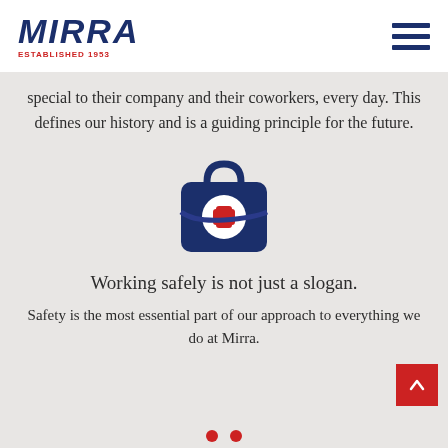MIRRA ESTABLISHED 1953
special to their company and their coworkers, every day. This defines our history and is a guiding principle for the future.
[Figure (illustration): Dark navy blue first-aid/medical kit icon with a red cross symbol on the front and a handle on top]
Working safely is not just a slogan.
Safety is the most essential part of our approach to everything we do at Mirra.